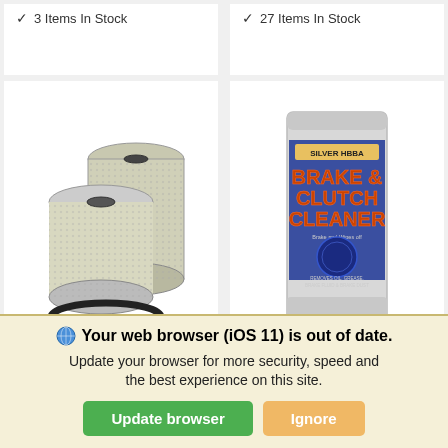3 Items In Stock
27 Items In Stock
[Figure (photo): Two cylindrical oil/fuel filter elements with a black rubber O-ring gasket in front]
[Figure (photo): A grey rectangular can of Silver Hbba Brake & Clutch Cleaner]
Your web browser (iOS 11) is out of date. Update your browser for more security, speed and the best experience on this site.
Update browser
Ignore